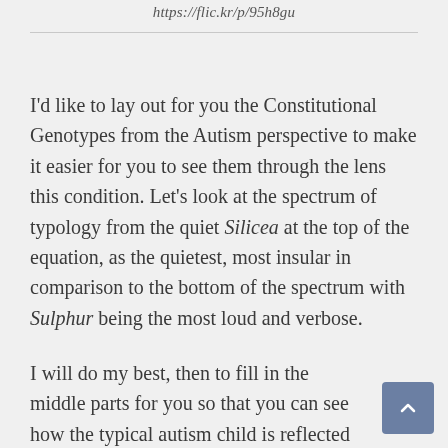https://flic.kr/p/95h8gu
I'd like to lay out for you the Constitutional Genotypes from the Autism perspective to make it easier for you to see them through the lens this condition. Let's look at the spectrum of typology from the quiet Silicea at the top of the equation, as the quietest, most insular in comparison to the bottom of the spectrum with Sulphur being the most loud and verbose.
I will do my best, then to fill in the middle parts for you so that you can see how the typical autism child is reflected